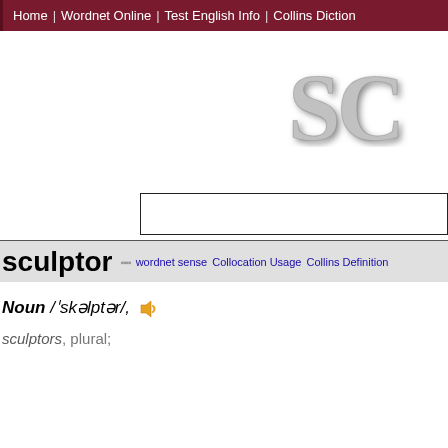Home | Wordnet Online | Test English Info | Collins Diction
[Figure (logo): Partial logo text 'SC' in large stylized grey font with shadow effect]
[Figure (screenshot): Search input text box, empty, with black border]
sculptor
wordnet sense  Collocation Usage  Collins Definition
Noun /ˈskəlptər/,
sculptors, plural;